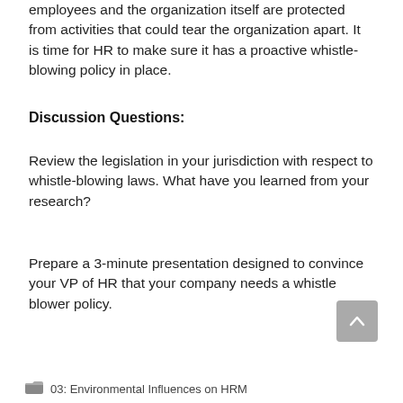employees and the organization itself are protected from activities that could tear the organization apart. It is time for HR to make sure it has a proactive whistle-blowing policy in place.
Discussion Questions:
Review the legislation in your jurisdiction with respect to whistle-blowing laws. What have you learned from your research?
Prepare a 3-minute presentation designed to convince your VP of HR that your company needs a whistle blower policy.
03: Environmental Influences on HRM